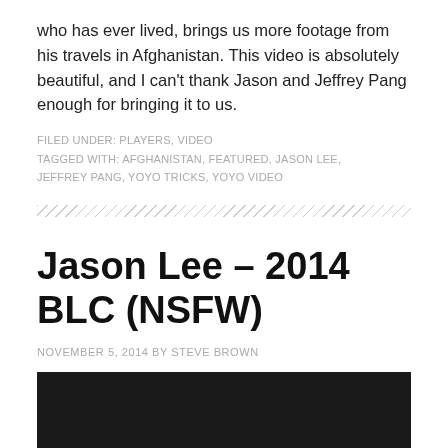who has ever lived, brings us more footage from his travels in Afghanistan. This video is absolutely beautiful, and I can't thank Jason and Jeffrey Pang enough for bringing it to us.
FILED UNDER: PLAYERS, VIDEO
TAGGED WITH: AFGHANISTAN, FEATURED, JASON LEE, JEFFREY PANG, YOYO TRICKS, YOYO VIDEO
Jason Lee – 2014 BLC (NSFW)
NOVEMBER 5, 2014 BY STEVE BROWN
[Figure (photo): Dark/black video thumbnail placeholder]